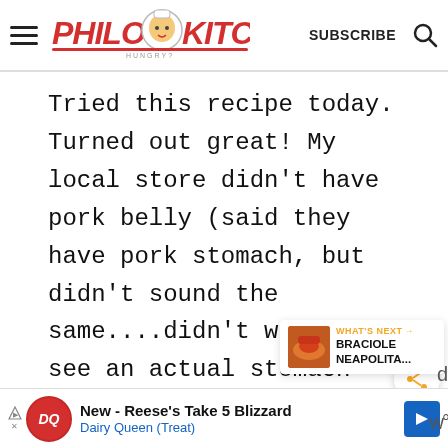Philos Kitchen — SUBSCRIBE
Tried this recipe today. Turned out great! My local store didn't have pork belly (said they have pork stomach, but didn't sound the same....didn't want to see an actual stomach handed over, haha). I went
[Figure (screenshot): Share button (orange share icon in white circle)]
[Figure (other): What's Next widget: BRACIOLE NEAPOLITA... with food thumbnail]
[Figure (other): Dairy Queen advertisement: New - Reese's Take 5 Blizzard, Dairy Queen (Treat)]